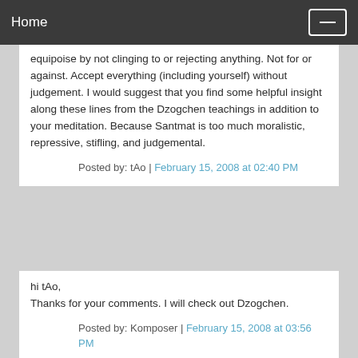Home
equipoise by not clinging to or rejecting anything. Not for or against. Accept everything (including yourself) without judgement. I would suggest that you find some helpful insight along these lines from the Dzogchen teachings in addition to your meditation. Because Santmat is too much moralistic, repressive, stifling, and judgemental.
Posted by: tAo | February 15, 2008 at 02:40 PM
hi tAo,
Thanks for your comments. I will check out Dzogchen.
Posted by: Komposer | February 15, 2008 at 03:56 PM
Prior to becoming involved with Sant Mat I was a hard